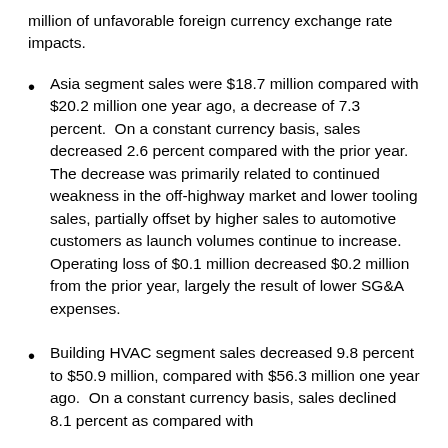million of unfavorable foreign currency exchange rate impacts.
Asia segment sales were $18.7 million compared with $20.2 million one year ago, a decrease of 7.3 percent.  On a constant currency basis, sales decreased 2.6 percent compared with the prior year.  The decrease was primarily related to continued weakness in the off-highway market and lower tooling sales, partially offset by higher sales to automotive customers as launch volumes continue to increase.  Operating loss of $0.1 million decreased $0.2 million from the prior year, largely the result of lower SG&A expenses.
Building HVAC segment sales decreased 9.8 percent to $50.9 million, compared with $56.3 million one year ago.  On a constant currency basis, sales declined 8.1 percent as compared with